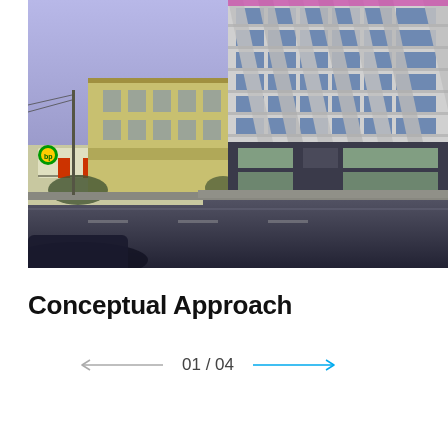[Figure (photo): Street-level photograph of an urban scene showing a modern high-rise building with a distinctive geometric concrete facade featuring zigzag/diamond patterns and glass curtain wall on the right, and an older yellow/beige residential building and a BP gas station on the left, with a street in the foreground and a car partially visible at bottom left.]
Conceptual Approach
01 / 04